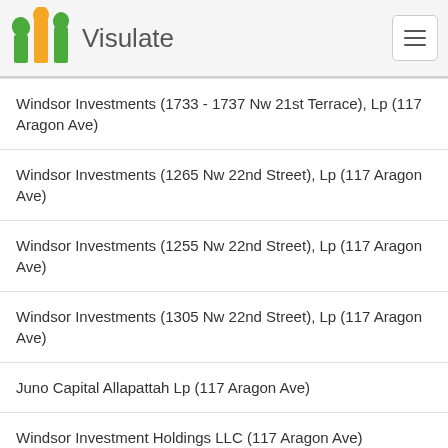Visulate
Windsor Investments (1733 - 1737 Nw 21st Terrace), Lp (117 Aragon Ave)
Windsor Investments (1265 Nw 22nd Street), Lp (117 Aragon Ave)
Windsor Investments (1255 Nw 22nd Street), Lp (117 Aragon Ave)
Windsor Investments (1305 Nw 22nd Street), Lp (117 Aragon Ave)
Juno Capital Allapattah Lp (117 Aragon Ave)
Windsor Investment Holdings LLC (117 Aragon Ave)
Windsor Investments (4seasons), LLC (117 Aragon Ave)
Windsor-Tiger Investments Manager, LLC (117 Aragon Ave)
Windsor Investments (Fairway Isles), LLC (117 Aragon Ave)